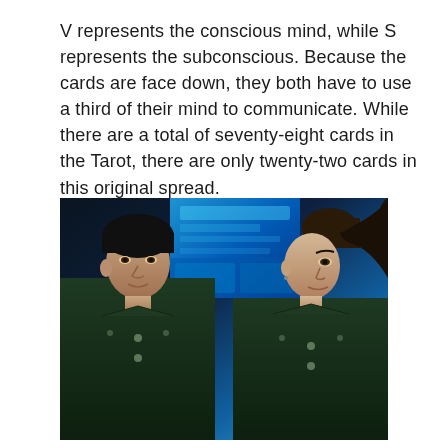V represents the conscious mind, while S represents the subconscious. Because the cards are face down, they both have to use a third of their mind to communicate. While there are a total of seventy-eight cards in the Tarot, there are only twenty-two cards in this original spread.
[Figure (photo): Two people in dark green military-style uniforms facing each other, with a bright blue sci-fi screen/interface visible in the background between them.]